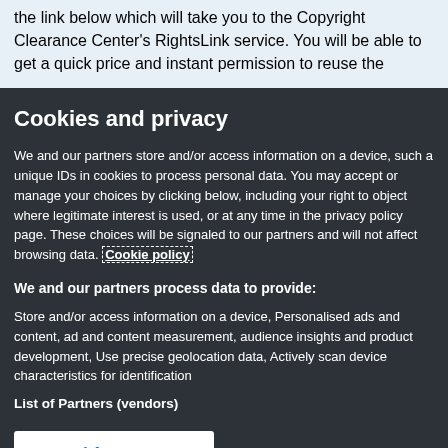the link below which will take you to the Copyright Clearance Center's RightsLink service. You will be able to get a quick price and instant permission to reuse the content in different
Cookies and privacy
We and our partners store and/or access information on a device, such a unique IDs in cookies to process personal data. You may accept or manage your choices by clicking below, including your right to object where legitimate interest is used, or at any time in the privacy policy page. These choices will be signaled to our partners and will not affect browsing data. Cookie policy
We and our partners process data to provide:
Store and/or access information on a device, Personalised ads and content, ad and content measurement, audience insights and product development, Use precise geolocation data, Actively scan device characteristics for identification
List of Partners (vendors)
I Accept